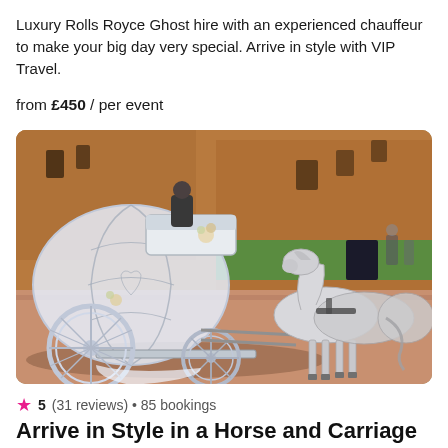Luxury Rolls Royce Ghost hire with an experienced chauffeur to make your big day very special. Arrive in style with VIP Travel.
from £450 / per event
[Figure (photo): A white Cinderella-style horse-drawn carriage with decorative ironwork and floral garlands, pulled by two white horses in harness, in front of a red brick castle building. The scene is on a reddish-brown paved driveway.]
★ 5 (31 reviews) • 85 bookings
Arrive in Style in a Horse and Carriage